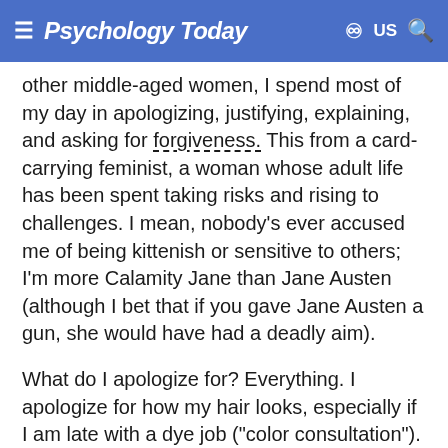Psychology Today  US
other middle-aged women, I spend most of my day in apologizing, justifying, explaining, and asking for forgiveness. This from a card-carrying feminist, a woman whose adult life has been spent taking risks and rising to challenges. I mean, nobody's ever accused me of being kittenish or sensitive to others; I'm more Calamity Jane than Jane Austen (although I bet that if you gave Jane Austen a gun, she would have had a deadly aim).
What do I apologize for? Everything. I apologize for how my hair looks, especially if I am late with a dye job ("color consultation"). I apologize for the fact that the Democratic party did not spend